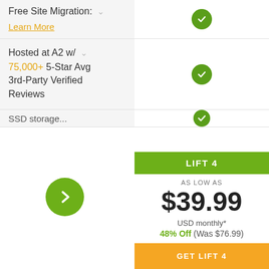Free Site Migration: Learn More
Hosted at A2 w/ 75,000+ 5-Star Avg 3rd-Party Verified Reviews
SSD...
LIFT 4
AS LOW AS
$39.99
USD monthly*
48% Off (Was $76.99)
GET LIFT 4